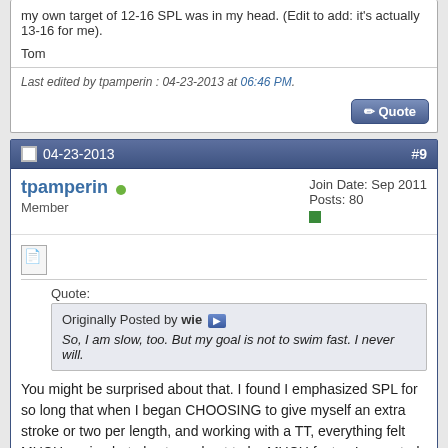my own target of 12-16 SPL was in my head. (Edit to add: it's actually 13-16 for me).

Tom
Last edited by tpamperin : 04-23-2013 at 06:46 PM.
04-23-2013 #9
tpamperin Member Join Date: Sep 2011 Posts: 80
Quote:
Originally Posted by wie
So, I am slow, too. But my goal is not to swim fast. I never will.
You might be surprised about that. I found I emphasized SPL for so long that when I began CHOOSING to give myself an extra stroke or two per length, and working with a TT, everything felt MUCH easier, but also turned out to be MUCH faster. I expected things to feel easier at higher SPL, but I was shocked to see the extra speed.

The lesson for me was, emphasis on SPL is incredibly useful, but you won't get the speed until you start swimming at the